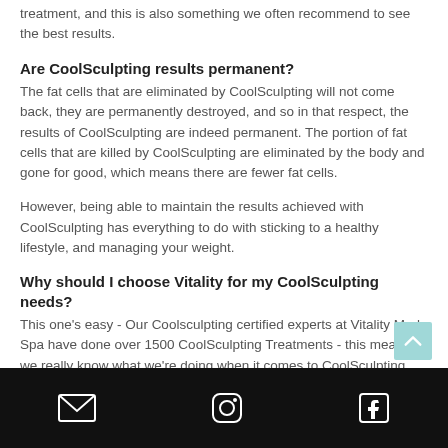treatment, and this is also something we often recommend to see the best results.
Are CoolSculpting results permanent?
The fat cells that are eliminated by CoolSculpting will not come back, they are permanently destroyed, and so in that respect, the results of CoolSculpting are indeed permanent. The portion of fat cells that are killed by CoolSculpting are eliminated by the body and gone for good, which means there are fewer fat cells.
However, being able to maintain the results achieved with CoolSculpting has everything to do with sticking to a healthy lifestyle, and managing your weight.
Why should I choose Vitality for my CoolSculpting needs?
This one's easy - Our Coolsculpting certified experts at Vitality Med Spa have done over 1500 CoolSculpting Treatments - this means we really know what we're doing when it comes to CoolSculpting and our spectacular results speak for themselves- we have OVER 500 FIVE STAR reviews from our happy and satisfied
Social media icons: email, instagram, facebook